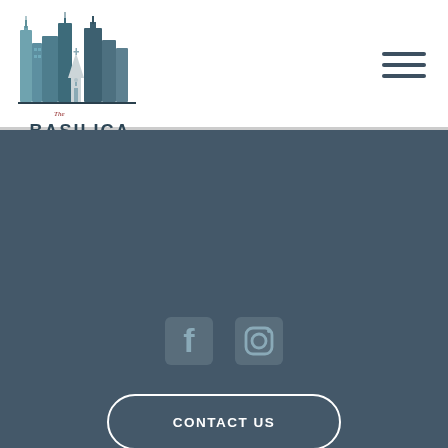[Figure (logo): The Basilica Landmark logo — city skyline with church silhouette and text 'The BASILICA LANDMARK']
[Figure (other): Hamburger menu icon — three horizontal dark lines]
[Figure (other): Dark blue-grey footer section with Facebook and Instagram social media icons, a CONTACT US button with rounded border, copyright text, a back-to-top arrow button, and a small double-chevron logo at the bottom]
© COPYRIGHT 2022, THE BASILICA LANDMARK, ALL RIGHTS RESERVED.